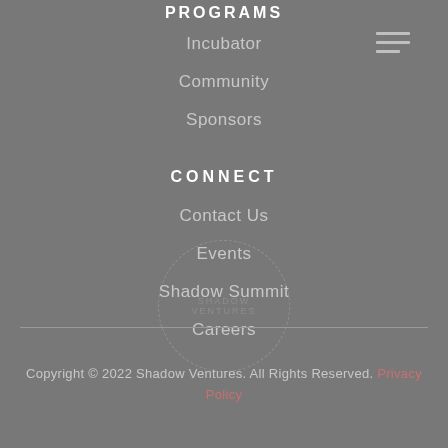PROGRAMS
Incubator
Community
Sponsors
CONNECT
Contact Us
Events
Shadow Summit
Careers
Copyright © 2022 Shadow Ventures. All Rights Reserved. Privacy Policy